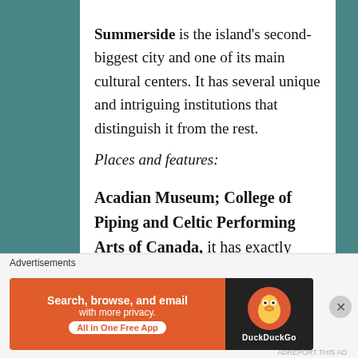Summerside is the island's second-biggest city and one of its main cultural centers. It has several unique and intriguing institutions that distinguish it from the rest.
Places and features:
Acadian Museum; College of Piping and Celtic Performing Arts of Canada, it has exactly what the name
Advertisements
[Figure (other): DuckDuckGo advertisement banner: orange background with text 'Search, browse, and email with more privacy. All in One Free App' and DuckDuckGo duck logo on dark background]